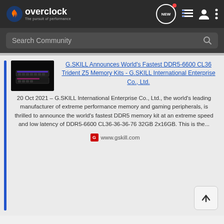overclock — The pursuit of performance
Search Community
G.SKILL Announces World's Fastest DDR5-6600 CL36 Trident Z5 Memory Kits - G.SKILL International Enterprise Co., Ltd.
20 Oct 2021 – G.SKILL International Enterprise Co., Ltd., the world's leading manufacturer of extreme performance memory and gaming peripherals, is thrilled to announce the world's fastest DDR5 memory kit at an extreme speed and low latency of DDR5-6600 CL36-36-36-76 32GB 2x16GB. This is the...
www.gskill.com